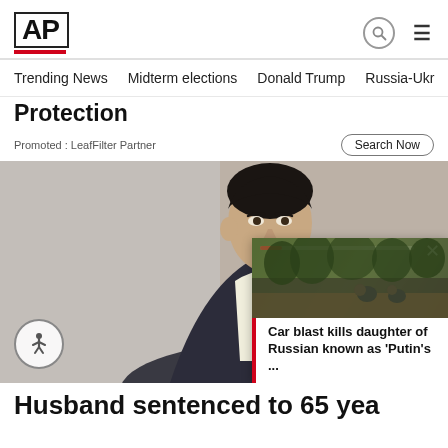AP
Trending News   Midterm elections   Donald Trump   Russia-Ukr
Protection
Promoted : LeafFilter Partner
Search Now
[Figure (photo): Man in dark suit and striped tie in courtroom setting]
[Figure (photo): Soldiers or military figures on a road, floating overlay card]
Car blast kills daughter of Russian known as 'Putin's ...
Husband sentenced to 65 yea